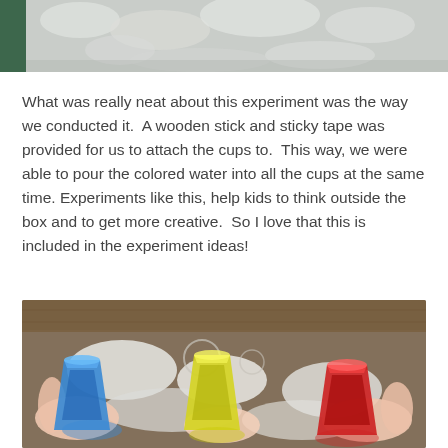[Figure (photo): Top portion of a photo showing snow or white fluffy material with a green container edge visible on the left]
What was really neat about this experiment was the way we conducted it.  A wooden stick and sticky tape was provided for us to attach the cups to.  This way, we were able to pour the colored water into all the cups at the same time.  Experiments like this, help kids to think outside the box and to get more creative.  So I love that this is included in the experiment ideas!
[Figure (photo): Children's hands pouring colored water (blue, yellow, red) from cups into a tray filled with baking soda or snow, showing a science experiment in progress]